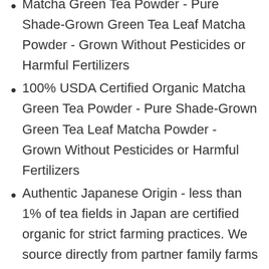Matcha Green Tea Powder - Pure Shade-Grown Green Tea Leaf Matcha Powder - Grown Without Pesticides or Harmful Fertilizers
100% USDA Certified Organic Matcha Green Tea Powder - Pure Shade-Grown Green Tea Leaf Matcha Powder - Grown Without Pesticides or Harmful Fertilizers
Authentic Japanese Origin - less than 1% of tea fields in Japan are certified organic for strict farming practices. We source directly from partner family farms in Uji and